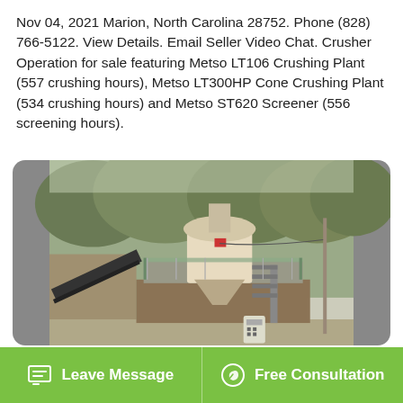Nov 04, 2021 Marion, North Carolina 28752. Phone (828) 766-5122. View Details. Email Seller Video Chat. Crusher Operation for sale featuring Metso LT106 Crushing Plant (557 crushing hours), Metso LT300HP Cone Crushing Plant (534 crushing hours) and Metso ST620 Screener (556 screening hours).
[Figure (photo): Photograph of a Metso crushing plant operation showing heavy machinery including a cone crusher on a platform with conveyors, set against a hillside with trees in the background.]
Leave Message   Free Consultation